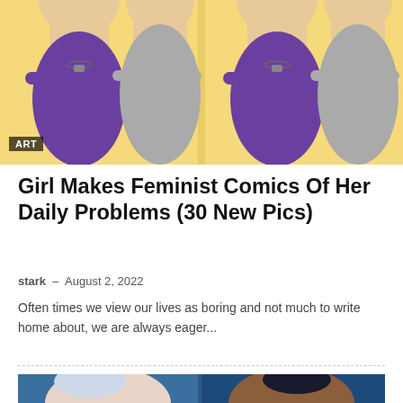[Figure (illustration): Comic-style illustration showing two characters side by side (repeated twice): a person in a purple shirt with a necklace, and a person in a gray top, on a yellow background. An 'ART' label badge is visible in the lower-left corner.]
Girl Makes Feminist Comics Of Her Daily Problems (30 New Pics)
stark - August 2, 2022
Often times we view our lives as boring and not much to write home about, we are always eager...
[Figure (illustration): Side-by-side comparison of two animated Disney princess characters: Elsa from Frozen on the left (white hair, pale skin, blue eyes) and a dark-skinned princess on the right (black hair with decorative headband, brown eyes, fur-trimmed garment), both on a blue background.]